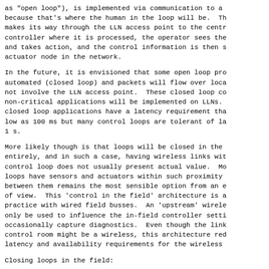as "open loop"), is implemented via communication to a because that's where the human in the loop will be.  Th makes its way through the LLN access point to the centr controller where it is processed, the operator sees the and takes action, and the control information is then s actuator node in the network.
In the future, it is envisioned that some open loop pro automated (closed loop) and packets will flow over loca not involve the LLN access point.  These closed loop co non-critical applications will be implemented on LLNs. closed loop applications have a latency requirement tha low as 100 ms but many control loops are tolerant of la 1 s.
More likely though is that loops will be closed in the entirely, and in such a case, having wireless links wit control loop does not usually present actual value.  Mo loops have sensors and actuators within such proximity between them remains the most sensible option from an e of view.  This 'control in the field' architecture is a practice with wired field busses.  An 'upstream' wirele only be used to influence the in-field controller setti occasionally capture diagnostics.  Even though the link control room might be a wireless, this architecture red latency and availability requirements for the wireless
Closing loops in the field:
o  does not prevent the same loop from being closed thr